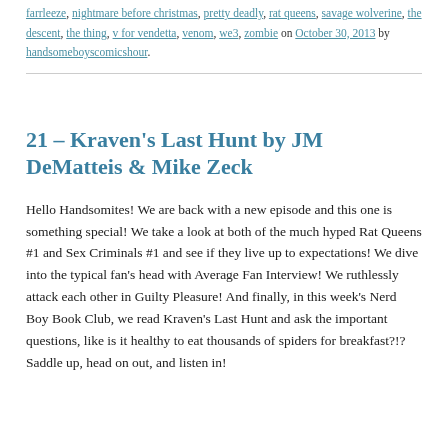farrleeze, nightmare before christmas, pretty deadly, rat queens, savage wolverine, the descent, the thing, v for vendetta, venom, we3, zombie on October 30, 2013 by handsomeboyscomicshour.
21 – Kraven's Last Hunt by JM DeMatteis & Mike Zeck
Hello Handsomites! We are back with a new episode and this one is something special! We take a look at both of the much hyped Rat Queens #1 and Sex Criminals #1 and see if they live up to expectations! We dive into the typical fan's head with Average Fan Interview! We ruthlessly attack each other in Guilty Pleasure! And finally, in this week's Nerd Boy Book Club, we read Kraven's Last Hunt and ask the important questions, like is it healthy to eat thousands of spiders for breakfast?!? Saddle up, head on out, and listen in!